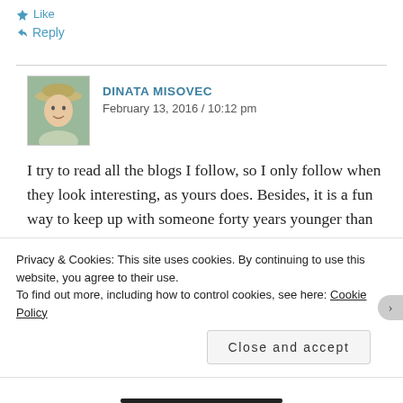Like
↩ Reply
DINATA MISOVEC
February 13, 2016 / 10:12 pm
I try to read all the blogs I follow, so I only follow when they look interesting, as yours does. Besides, it is a fun way to keep up with someone forty years younger than myself! p.s. My grandsons live near Milwaukee and we went to the children's museum in Madison last summer. I had fun.
Privacy & Cookies: This site uses cookies. By continuing to use this website, you agree to their use.
To find out more, including how to control cookies, see here: Cookie Policy
Close and accept